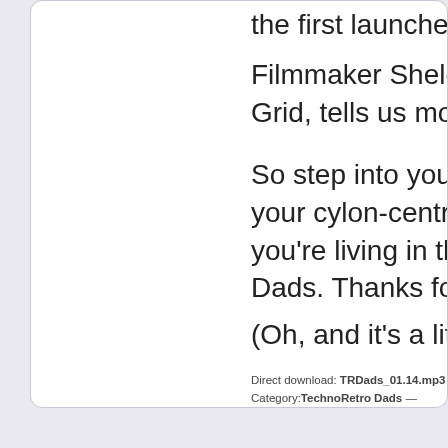the first launches of sky bo
Filmmaker Sheldon Norton Grid, tells us more about hi
So step into your dancing s your cylon-centric Pontiac k you're living in the United S Dads. Thanks for joining us
(Oh, and it's a little long thi
Direct download: TRDads_01.14.mp3 Category:TechnoRetro Dads — posted at: 6:00am ED